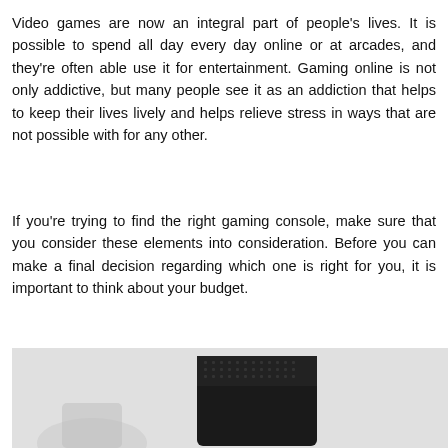Video games are now an integral part of people's lives. It is possible to spend all day every day online or at arcades, and they're often able use it for entertainment. Gaming online is not only addictive, but many people see it as an addiction that helps to keep their lives lively and helps relieve stress in ways that are not possible with for any other.
If you're trying to find the right gaming console, make sure that you consider these elements into consideration. Before you can make a final decision regarding which one is right for you, it is important to think about your budget.
[Figure (photo): Photo of a black Xbox Series X gaming console on a light gray background, showing the top ventilation grille.]